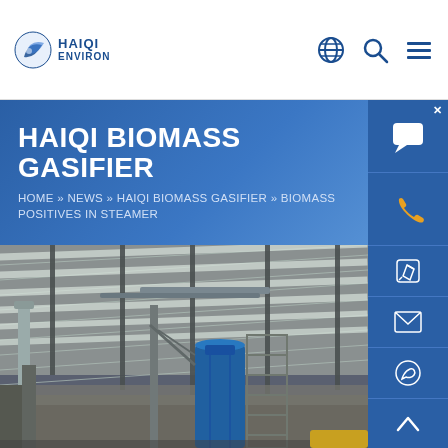HAIQI ENVIRON — navigation header with globe, search, and menu icons
HAIQI BIOMASS GASIFIER
HOME » NEWS » HAIQI BIOMASS GASIFIER » BIOMASS POSITIVES IN STEAMER
[Figure (photo): Interior of a large industrial factory/warehouse with a blue cylindrical biomass gasifier unit, metal scaffolding, steel roof structure with skylights, and industrial pipes and equipment.]